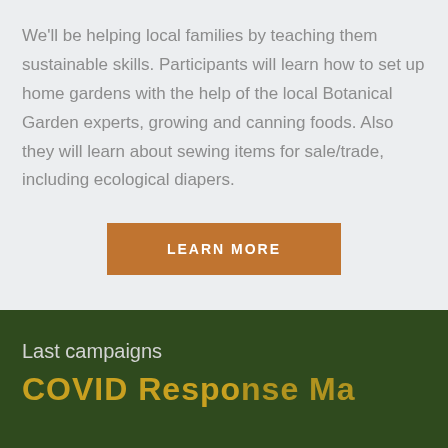We'll be helping local families by teaching them sustainable skills. Participants will learn how to set up home gardens with the help of the local Botanical Garden experts, growing and canning foods. Also they will learn about sewing items for sale/trade, including ecological diapers.
LEARN MORE
Last campaigns
COVID Response Ma...